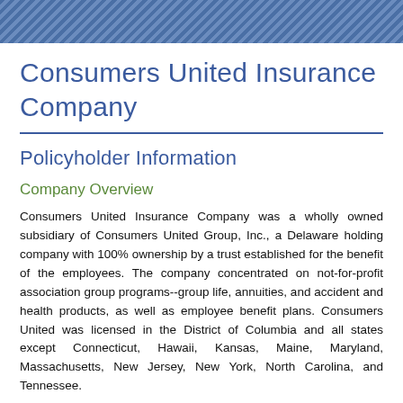Consumers United Insurance Company
Policyholder Information
Company Overview
Consumers United Insurance Company was a wholly owned subsidiary of Consumers United Group, Inc., a Delaware holding company with 100% ownership by a trust established for the benefit of the employees. The company concentrated on not-for-profit association group programs--group life, annuities, and accident and health products, as well as employee benefit plans. Consumers United was licensed in the District of Columbia and all states except Connecticut, Hawaii, Kansas, Maine, Maryland, Massachusetts, New Jersey, New York, North Carolina, and Tennessee.